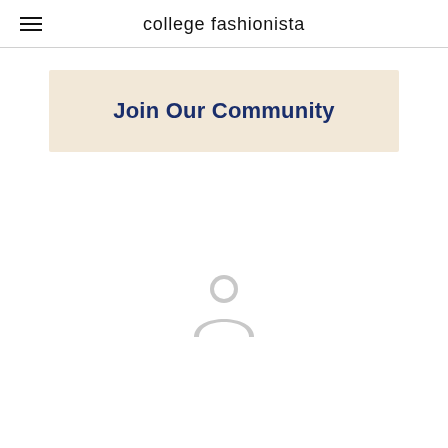college fashionista
Join Our Community
[Figure (illustration): Generic user avatar icon in light gray, showing a circular silhouette with a head and shoulders shape]